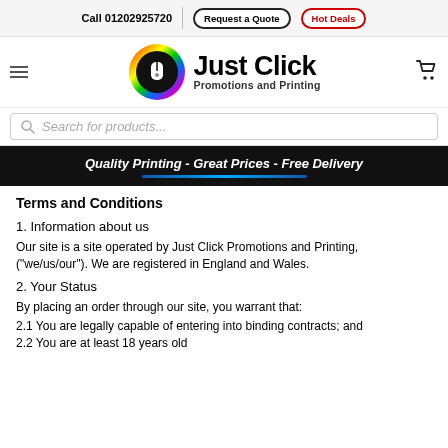Call 01202925720 | Request a Quote | Hot Deals
[Figure (logo): Just Click Promotions and Printing logo with colorful mouse icon]
Search for products...
Quality Printing - Great Prices - Free Delivery
Terms and Conditions
1. Information about us
Our site is a site operated by Just Click Promotions and Printing, ("we/us/our"). We are registered in England and Wales.
2. Your Status
By placing an order through our site, you warrant that:
2.1 You are legally capable of entering into binding contracts; and
2.2 You are at least 18 years old